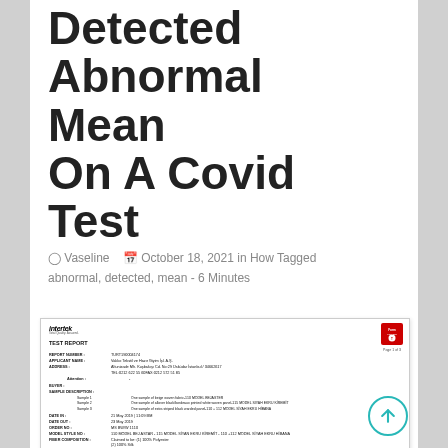Detected Abnormal Mean On A Covid Test
Vaseline   October 18, 2021 in How Tagged abnormal, detected, mean - 6 Minutes
[Figure (other): Intertek TEST REPORT document showing report number TURT190004174, applicant name, address, sample descriptions (beige woven fabric, allover black/bordeaux printed white woven panel, extra striped black warded panel), dates, order number, model style, fiber composition, and a partial results table.]